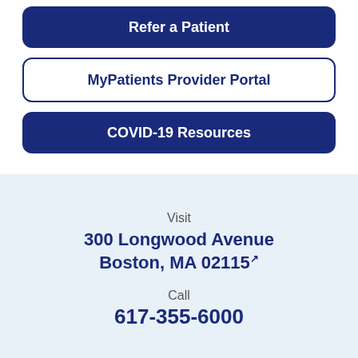Refer a Patient
MyPatients Provider Portal
COVID-19 Resources
Visit
300 Longwood Avenue
Boston, MA 02115
Call
617-355-6000